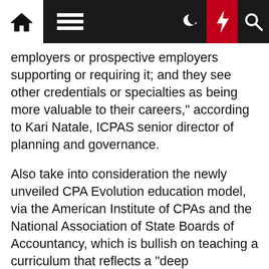Navigation bar with home, menu, moon, bolt, and search icons
employers or prospective employers supporting or requiring it; and they see other credentials or specialties as being more valuable to their careers," according to Kari Natale, ICPAS senior director of planning and governance.
Also take into consideration the newly unveiled CPA Evolution education model, via the American Institute of CPAs and the National Association of State Boards of Accountancy, which is bullish on teaching a curriculum that reflects a "deep understanding of new and emerging technologies … essential for CPAs entering the profession," according to Coffey.
So if the idea of what an accountant is (and can be) is in flux, where exactly should one start in their collegiate careers? "A strong skill set in tax or audit is